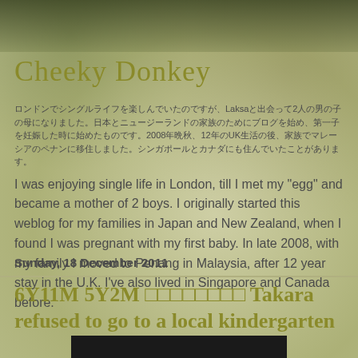Cheeky Donkey
ロンドンでシングルライフを楽しみ、Laksaと出会って2人の男の子の母になりました。日本とニュージーランドの家族のためにブログを始め、2008年に12年間のUK生活を経てマレーシアのペナンに移住。シンガポールとカナダにも住んでいました。
I was enjoying single life in London, till I met my "egg" and became a mother of 2 boys. I originally started this weblog for my families in Japan and New Zealand, when I found I was pregnant with my first baby. In late 2008, with my family I moved to Penang in Malaysia, after 12 year stay in the U.K. I've also lived in Singapore and Canada before.
Sunday, 18 December 2011
6Y11M 5Y2M □□□□□□□□ Takara refused to go to a local kindergarten